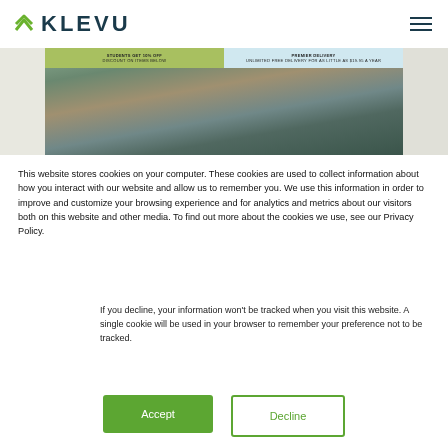[Figure (logo): Klevu logo with green chevron/arrow icon and dark teal KLEVU wordmark]
[Figure (photo): ASOS website screenshot showing a group of four diverse fashion models with text overlay 'THIS IS ASOS', partially obscured cookie banner]
This website stores cookies on your computer. These cookies are used to collect information about how you interact with our website and allow us to remember you. We use this information in order to improve and customize your browsing experience and for analytics and metrics about our visitors both on this website and other media. To find out more about the cookies we use, see our Privacy Policy.
If you decline, your information won't be tracked when you visit this website. A single cookie will be used in your browser to remember your preference not to be tracked.